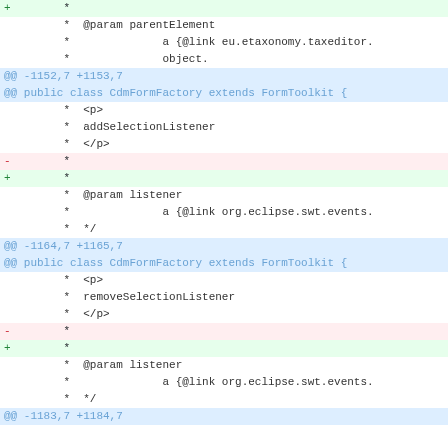diff code hunk showing changes to CdmFormFactory extending FormToolkit
@@ -1152,7 +1153,7
@@ public class CdmFormFactory extends FormToolkit {
   * <p>
   * addSelectionListener
   * </p>
-  *
+  *
   * @param listener
   *           a {@link org.eclipse.swt.events.
   */
@@ -1164,7 +1165,7
@@ public class CdmFormFactory extends FormToolkit {
   * <p>
   * removeSelectionListener
   * </p>
-  *
+  *
   * @param listener
   *           a {@link org.eclipse.swt.events.
   */
@@ -1183,7 +1184,7